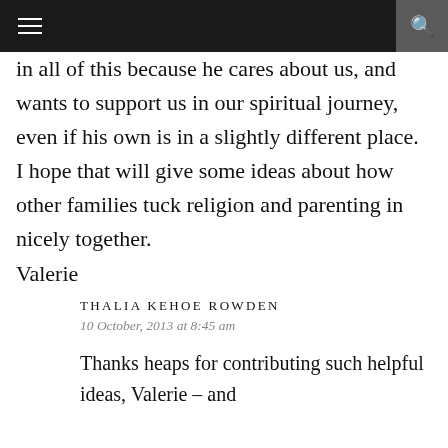≡  🔍
in all of this because he cares about us, and wants to support us in our spiritual journey, even if his own is in a slightly different place.
I hope that will give some ideas about how other families tuck religion and parenting in nicely together.
Valerie
THALIA KEHOE ROWDEN
10 October, 2013 at 8:45 am
Thanks heaps for contributing such helpful ideas, Valerie – and